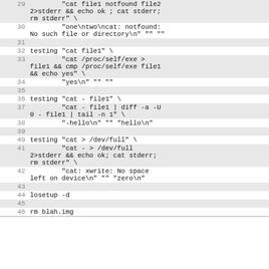| 29 | "cat file1 notfound file2 2>stderr && echo ok ; cat stderr; rm stderr" \ |
| 30 | "one\ntwo\ncat: notfound: No such file or directory\n" "" "" |
| 31 |  |
| 32 | testing "cat file1" \ |
| 33 | "cat /proc/self/exe > file1 && cmp /proc/self/exe file1 && echo yes" \ |
| 34 | "yes\n" "" "" |
| 35 |  |
| 36 | testing "cat - file1" \ |
| 37 | "cat - file1 | diff -a -U 0 - file1 | tail -n 1" \ |
| 38 | "-hello\n" "" "hello\n" |
| 39 |  |
| 40 | testing "cat > /dev/full" \ |
| 41 | "cat - > /dev/full 2>stderr && echo ok; cat stderr; rm stderr" \ |
| 42 | "cat: xwrite: No space left on device\n" "" "zero\n" |
| 43 |  |
| 44 | losetup -d |
| 45 |  |
| 46 | rm blah.img |